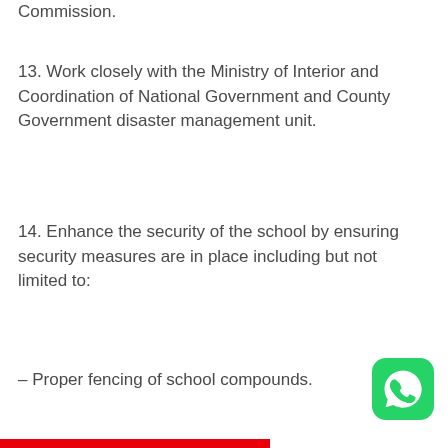Commission.
13. Work closely with the Ministry of Interior and Coordination of National Government and County Government disaster management unit.
14. Enhance the security of the school by ensuring security measures are in place including but not limited to:
– Proper fencing of school compounds.
[Figure (logo): WhatsApp logo icon — green rounded square with white phone handset inside speech bubble]